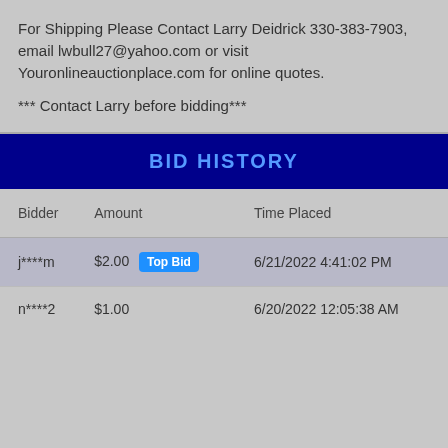For Shipping Please Contact Larry Deidrick 330-383-7903, email lwbull27@yahoo.com or visit Youronlineauctionplace.com for online quotes.
*** Contact Larry before bidding***
BID HISTORY
| Bidder | Amount | Time Placed |
| --- | --- | --- |
| j****m | $2.00 Top Bid | 6/21/2022 4:41:02 PM |
| n****2 | $1.00 | 6/20/2022 12:05:38 AM |